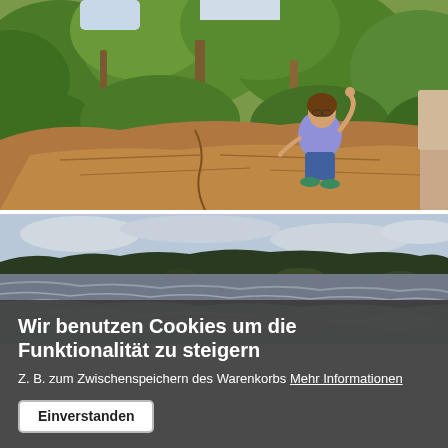[Figure (photo): Woman sitting on large rocks waving at camera, with lush green tropical forest in the background. Another person visible at right edge.]
[Figure (photo): Wide river or waterfall scene with rushing white water in foreground, dark treeline and cloudy sky in background.]
Wir benutzen Cookies um die Funktionalität zu steigern
Z. B. zum Zwischenspeichern des Warenkorbs Mehr Informationen
Einverstanden